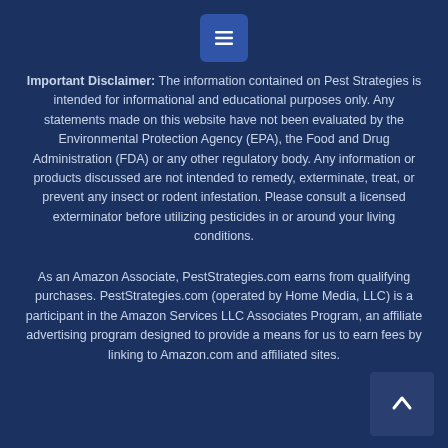[Figure (other): Blue square menu/hamburger button icon at top center]
Important Disclaimer: The information contained on Pest Strategies is intended for informational and educational purposes only. Any statements made on this website have not been evaluated by the Environmental Protection Agency (EPA), the Food and Drug Administration (FDA) or any other regulatory body. Any information or products discussed are not intended to remedy, exterminate, treat, or prevent any insect or rodent infestation. Please consult a licensed exterminator before utilizing pesticides in or around your living conditions.
As an Amazon Associate, PestStrategies.com earns from qualifying purchases. PestStrategies.com (operated by Home Media, LLC) is a participant in the Amazon Services LLC Associates Program, an affiliate advertising program designed to provide a means for us to earn fees by linking to Amazon.com and affiliated sites.
[Figure (other): Back to top arrow button at bottom right corner]